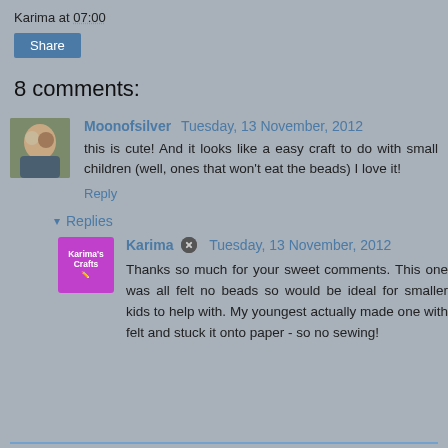Karima at 07:00
Share
8 comments:
Moonofsilver  Tuesday, 13 November, 2012
this is cute! And it looks like a easy craft to do with small children (well, ones that won't eat the beads) I love it!
Reply
▾ Replies
Karima  Tuesday, 13 November, 2012
Thanks so much for your sweet comments. This one was all felt no beads so would be ideal for smaller kids to help with. My youngest actually made one with felt and stuck it onto paper - so no sewing!